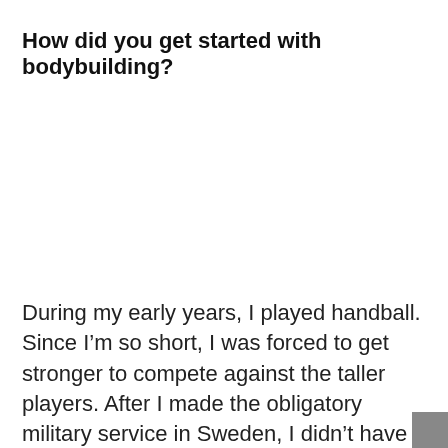How did you get started with bodybuilding?
During my early years, I played handball. Since I’m so short, I was forced to get stronger to compete against the taller players. After I made the obligatory military service in Sweden, I didn’t have any time for handball but only to workout at the gym.